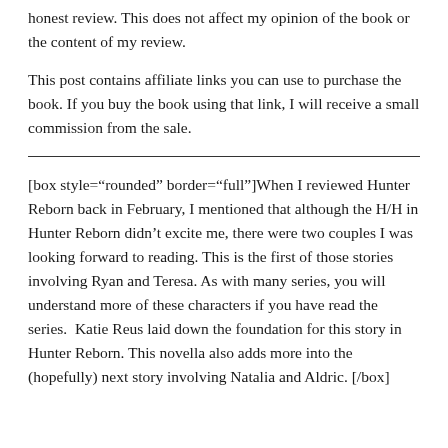honest review. This does not affect my opinion of the book or the content of my review.
This post contains affiliate links you can use to purchase the book. If you buy the book using that link, I will receive a small commission from the sale.
[box style="rounded" border="full"]When I reviewed Hunter Reborn back in February, I mentioned that although the H/H in Hunter Reborn didn't excite me, there were two couples I was looking forward to reading. This is the first of those stories involving Ryan and Teresa. As with many series, you will understand more of these characters if you have read the series.  Katie Reus laid down the foundation for this story in Hunter Reborn. This novella also adds more into the (hopefully) next story involving Natalia and Aldric. [/box]